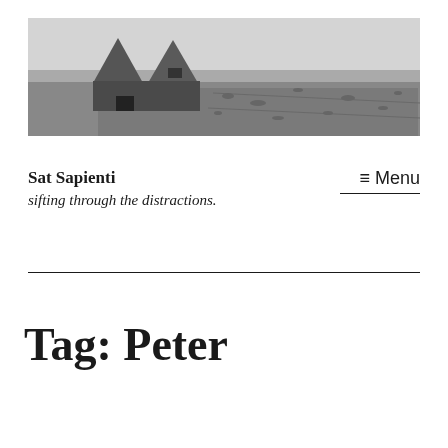[Figure (photo): Black and white photograph of a ruined stone structure with two triangular gable walls against an open rocky landscape and sky]
Sat Sapienti
sifting through the distractions.
≡ Menu
Tag: Peter